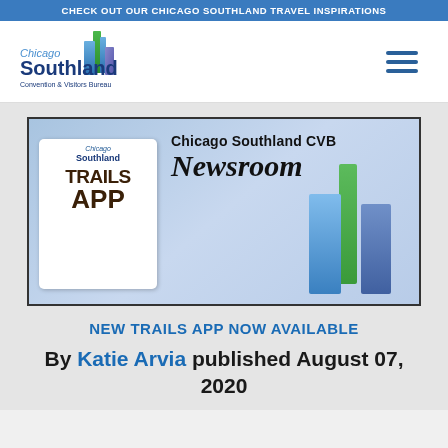CHECK OUT OUR CHICAGO SOUTHLAND TRAVEL INSPIRATIONS
[Figure (logo): Chicago Southland Convention & Visitors Bureau logo with blue building graphic]
[Figure (illustration): Chicago Southland CVB Newsroom banner with Trails App logo and building graphic]
NEW TRAILS APP NOW AVAILABLE
By Katie Arvia published August 07, 2020